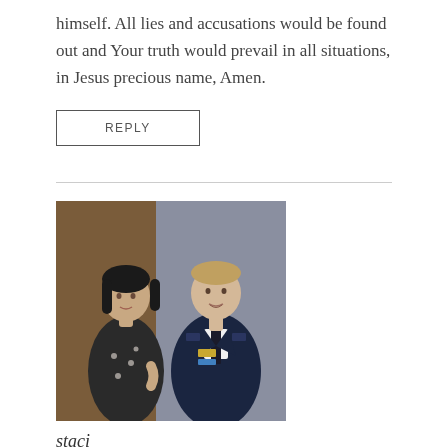himself. All lies and accusations would be found out and Your truth would prevail in all situations, in Jesus precious name, Amen.
REPLY
[Figure (photo): A couple posing together — a woman in a patterned dress and a man in a military dress uniform with medals]
staci
MARCH 2, 2014
Beautiful songs, thanks for these, just beautiful!!! I must